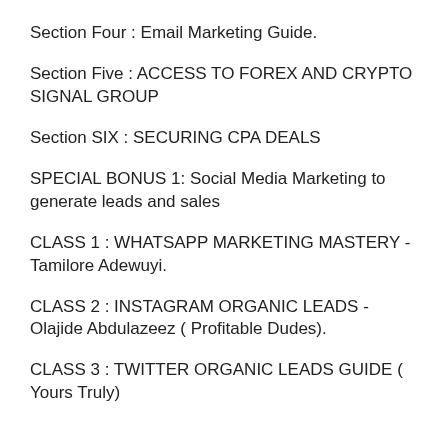Section Four : Email Marketing Guide.
Section Five : ACCESS TO FOREX AND CRYPTO SIGNAL GROUP
Section SIX : SECURING CPA DEALS
SPECIAL BONUS 1: Social Media Marketing to generate leads and sales
CLASS 1 : WHATSAPP MARKETING MASTERY - Tamilore Adewuyi.
CLASS 2 : INSTAGRAM ORGANIC LEADS - Olajide Abdulazeez ( Profitable Dudes).
CLASS 3 : TWITTER ORGANIC LEADS GUIDE ( Yours Truly)